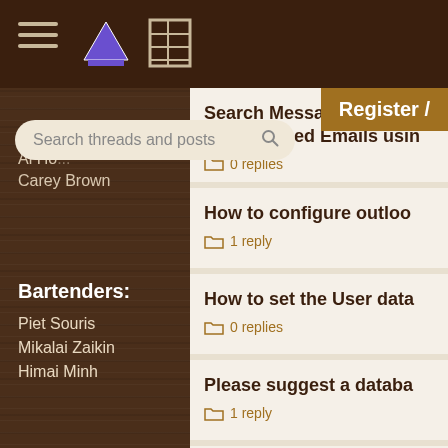Tim M... | Al H... | Carey Brown
Bartenders:
Piet Souris
Mikalai Zaikin
Himai Minh
Register /
Search threads and posts
Search Messages using S... | DKIM Signed Emails usin... | 0 replies
How to configure outloo... | 1 reply
How to set the User data... | 0 replies
Please suggest a databa... | 1 reply
Adding attachment to ou...